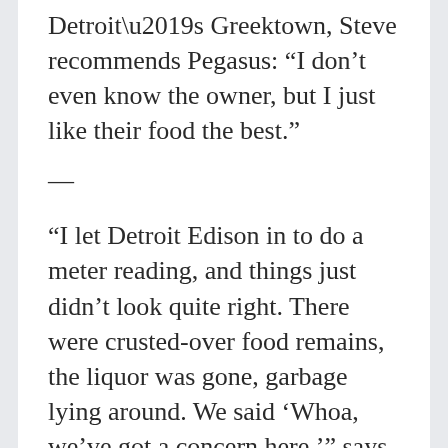Detroit’s Greektown, Steve recommends Pegasus: “I don’t even know the owner, but I just like their food the best.”
—
“I let Detroit Edison in to do a meter reading, and things just didn’t look quite right. There were crusted-over food remains, the liquor was gone, garbage lying around. We said ‘Whoa, we’ve got a concern here,’” says Ed Shaffran, landlord of the Champion House, the longest…